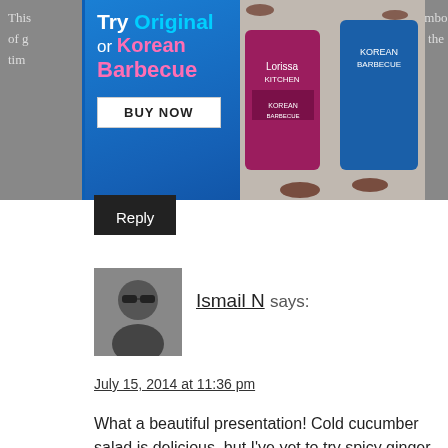[Figure (photo): Advertisement banner for Lorissa's Kitchen Korean Barbecue beef jerky. Blue background with text 'Try Original or Korean Barbecue' and a 'BUY NOW' button. Product packages shown on right.]
combo of g... the tim...
Reply
[Figure (photo): Avatar photo of commenter Ismail N, a person wearing sunglasses.]
Ismail N says:
July 15, 2014 at 11:36 pm
What a beautiful presentation! Cold cucumber salad is delicious, but I've yet to try spicy ginger cucumber salad.
Reply
[Figure (photo): Default avatar silhouette icon for commenter mim.]
mim says:
July 19, 2014 at 8:16 am